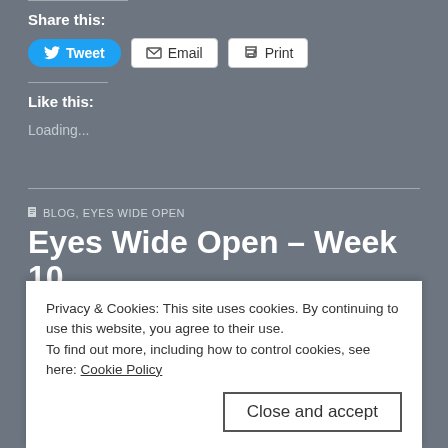Share this:
[Figure (screenshot): Share buttons: Tweet (blue), Email, Print]
Like this:
Loading...
BLOG, EYES WIDE OPEN
Eyes Wide Open – Week 10
by Christine Bolton • September 15, 2018 • 0 Comments
Privacy & Cookies: This site uses cookies. By continuing to use this website, you agree to their use.
To find out more, including how to control cookies, see here: Cookie Policy
Close and accept